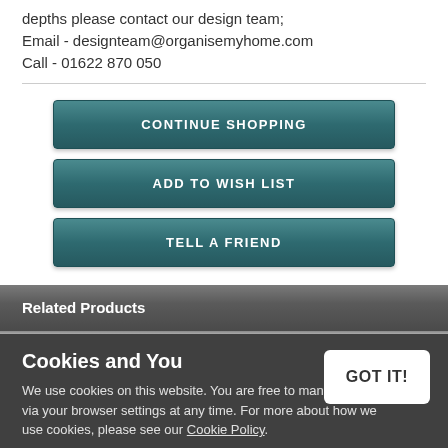depths please contact our design team; Email - designteam@organisemyhome.com Call - 01622 870 050
CONTINUE SHOPPING
ADD TO WISH LIST
TELL A FRIEND
Related Products
Cookies and You
We use cookies on this website. You are free to manage these via your browser settings at any time. For more about how we use cookies, please see our Cookie Policy.
GOT IT!